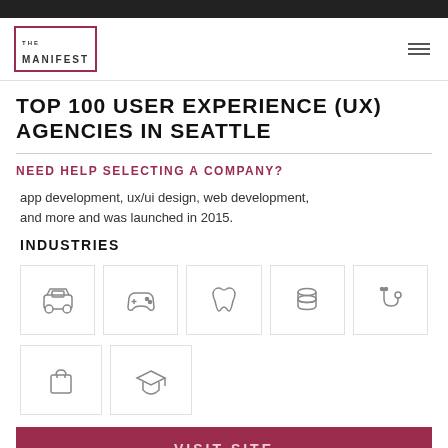THE MANIFEST
TOP 100 USER EXPERIENCE (UX) AGENCIES IN SEATTLE
NEED HELP SELECTING A COMPANY?
app development, ux/ui design, web development, and more and was launched in 2015.
INDUSTRIES
[Figure (infographic): Industry icons grid: automotive/car, gaming controller, dental/tooth, database/finance stacked coins, medical stethoscope, shopping bag, graduation cap/education]
VISIT SITE